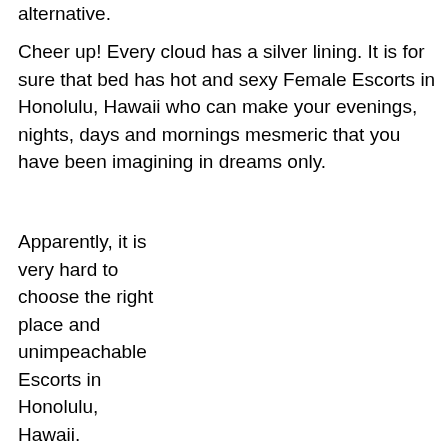alternative.
Cheer up! Every cloud has a silver lining. It is for sure that bed has hot and sexy Female Escorts in Honolulu, Hawaii who can make your evenings, nights, days and mornings mesmeric that you have been imagining in dreams only.
Apparently, it is very hard to choose the right place and unimpeachable Escorts in Honolulu, Hawaii. Howbeit, bed is the most reliable place for Honolulu Female Escorts.